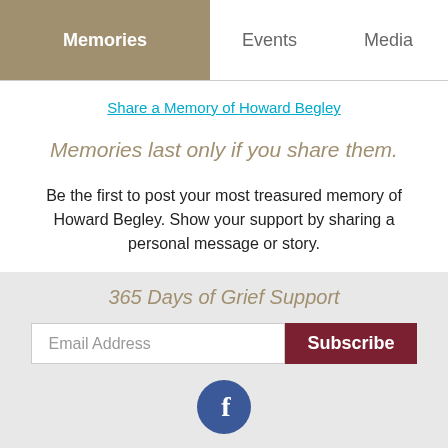Memories | Events | Media
Share a Memory of Howard Begley
Memories last only if you share them.
Be the first to post your most treasured memory of Howard Begley. Show your support by sharing a personal message or story.
365 Days of Grief Support
Email Address [Subscribe button]
[Figure (logo): Facebook logo circle button]
© Booneville Funeral Home
Website Designed by FuneralOne